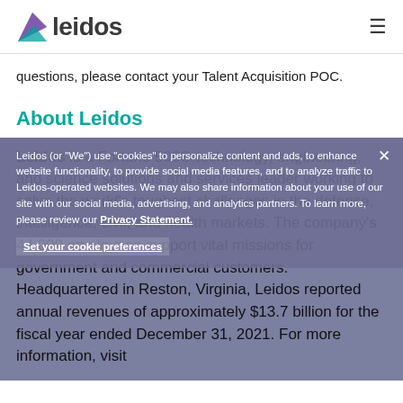leidos
questions, please contact your Talent Acquisition POC.
About Leidos
Leidos is a Fortune 500® technology, engineering, and science solutions and services leader working to solve the world's toughest challenges in the defense, intelligence, civil, and health markets. The company's 44,000 employees support vital missions for government and commercial customers. Headquartered in Reston, Virginia, Leidos reported annual revenues of approximately $13.7 billion for the fiscal year ended December 31, 2021. For more information, visit
Leidos (or "We") use "cookies" to personalize content and ads, to enhance website functionality, to provide social media features, and to analyze traffic to Leidos-operated websites. We may also share information about your use of our site with our social media, advertising, and analytics partners. To learn more, please review our Privacy Statement. Set your cookie preferences